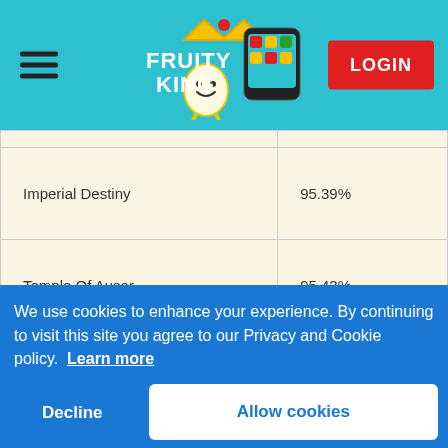Fruity King — LOGIN
| Game | RTP |
| --- | --- |
| Imperial Destiny | 95.39% |
| Temple Of Ausar | 95.43% |
| Robin of Sherwood | 95.86% |
| Cup Carnaval | 94.94% |
| Flame | 95.55% |
| 88 Fortunes | 96% |
We use cookies to enhance your experience. By continuing to visit this site you agree to our Privacy and Cookie policy. Learn more
Decline
Allow cookies